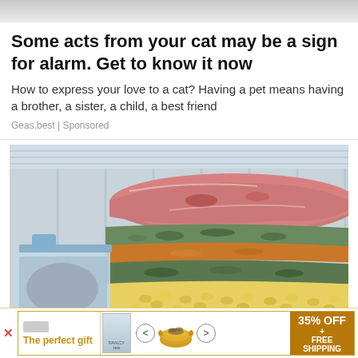[Figure (photo): Top strip showing a light gray gradient background, likely top of a webpage.]
Some acts from your cat may be a sign for alarm. Get to know it now
How to express your love to a cat? Having a pet means having a brother, a sister, a child, a best friend
Geas.best | Sponsored
[Figure (photo): A freezer packed with various frozen food items including packages of meat, frozen vegetables, frozen pizza/spinach dishes, and corn, stacked on shelves inside a refrigerator freezer compartment.]
[Figure (infographic): An advertisement banner at the bottom of the page. Shows a gift product advertisement with text 'The perfect gift', navigation arrows, a bowl image, and a gold/orange box on the right reading '35% OFF + FREE SHIPPING'.]